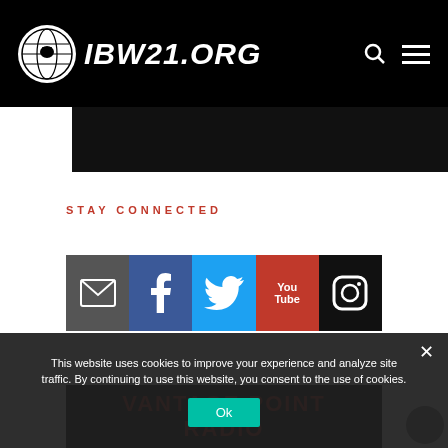IBW21.ORG
STAY CONNECTED
[Figure (infographic): Social media icon bar with email, Facebook, Twitter, YouTube, and Instagram icons]
[Figure (screenshot): Vantage Point Radio thumbnail image partially visible at bottom]
This website uses cookies to improve your experience and analyze site traffic. By continuing to use this website, you consent to the use of cookies.